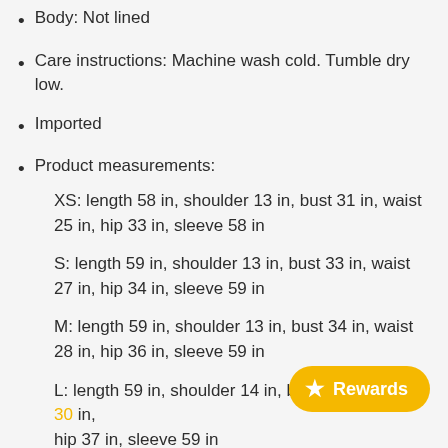Body: Not lined
Care instructions: Machine wash cold. Tumble dry low.
Imported
Product measurements:
XS: length 58 in, shoulder 13 in, bust 31 in, waist 25 in, hip 33 in, sleeve 58 in
S: length 59 in, shoulder 13 in, bust 33 in, waist 27 in, hip 34 in, sleeve 59 in
M: length 59 in, shoulder 13 in, bust 34 in, waist 28 in, hip 36 in, sleeve 59 in
L: length 59 in, shoulder 14 in, bust 36 in, waist 30 in, hip 37 in, sleeve 59 in